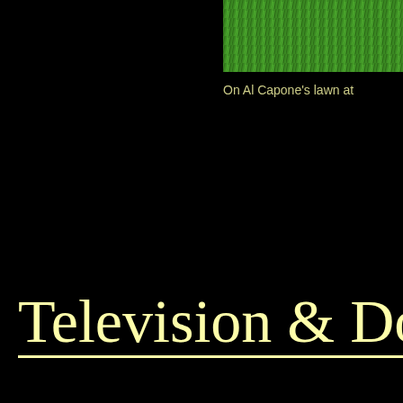[Figure (photo): Green grass lawn photo in upper right corner]
On Al Capone's lawn at
Television & Docum
[Figure (photo): VHS tapes standing upright including a maxell VIDEO CASSETTE tape, pink/red tape labeled HARDCORE HOME, History Channel tape labeled Al Capone & th, and another History Channel tape]